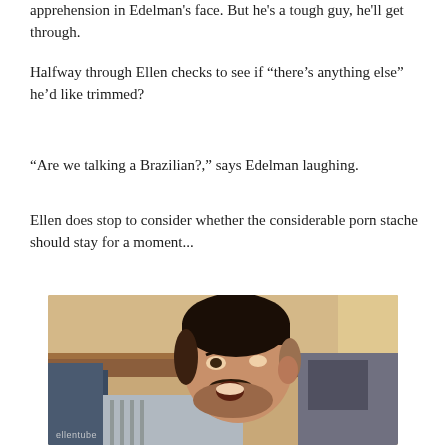apprehension in Edelman's face. But he's a tough guy, he'll get through.
Halfway through Ellen checks to see if “there’s anything else” he’d like trimmed?
“Are we talking a Brazilian?,” says Edelman laughing.
Ellen does stop to consider whether the considerable porn stache should stay for a moment...
[Figure (photo): A man with a mustache and short hair laughing, appearing to be on a TV show set. An 'ellentube' watermark is visible in the bottom left corner.]